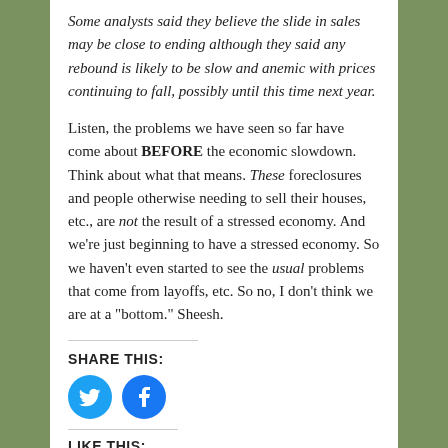Some analysts said they believe the slide in sales may be close to ending although they said any rebound is likely to be slow and anemic with prices continuing to fall, possibly until this time next year.
Listen, the problems we have seen so far have come about BEFORE the economic slowdown. Think about what that means. These foreclosures and people otherwise needing to sell their houses, etc., are not the result of a stressed economy. And we’re just beginning to have a stressed economy. So we haven’t even started to see the usual problems that come from layoffs, etc. So no, I don’t think we are at a “bottom.” Sheesh.
SHARE THIS:
[Figure (illustration): Twitter bird icon (blue circle) and Facebook 'f' icon (blue circle) for social sharing]
LIKE THIS:
[Figure (illustration): Like button with star icon]